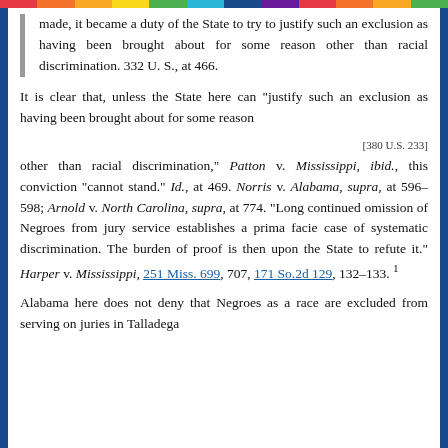made, it became a duty of the State to try to justify such an exclusion as having been brought about for some reason other than racial discrimination. 332 U. S., at 466.
It is clear that, unless the State here can "justify such an exclusion as having been brought about for some reason
[380 U.S. 233]
other than racial discrimination," Patton v. Mississippi, ibid., this conviction "cannot stand." Id., at 469. Norris v. Alabama, supra, at 596-598; Arnold v. North Carolina, supra, at 774. "Long continued omission of Negroes from jury service establishes a prima facie case of systematic discrimination. The burden of proof is then upon the State to refute it." Harper v. Mississippi, 251 Miss. 699, 707, 171 So.2d 129, 132-133. 1
Alabama here does not deny that Negroes as a race are excluded from serving on juries in Talladega